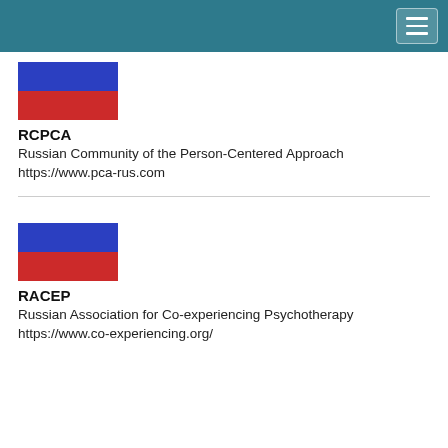[Figure (illustration): Russian flag icon — blue top half, red bottom half, rectangular]
RCPCA
Russian Community of the Person-Centered Approach
https://www.pca-rus.com
[Figure (illustration): Russian flag icon — blue top half, red bottom half, rectangular]
RACEP
Russian Association for Co-experiencing Psychotherapy
https://www.co-experiencing.org/